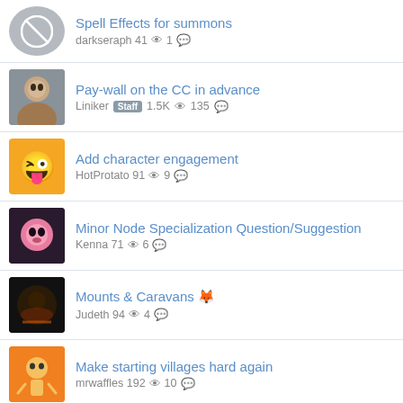Spell Effects for summons — darkseraph 41 views 1 comment
Pay-wall on the CC in advance — Liniker Staff 1.5K views 135 comments
Add character engagement — HotProtato 91 views 9 comments
Minor Node Specialization Question/Suggestion — Kenna 71 views 6 comments
Mounts & Caravans 🦊 — Judeth 94 views 4 comments
Make starting villages hard again — mrwaffles 192 views 10 comments
New Lazy Peon video, and some thoughts on how MMOs have become lobby based games. — Vhaeyne 1.5K views 76 comments
Ideal Class Creative Exercise — also known as Benji 61 views 0 comments